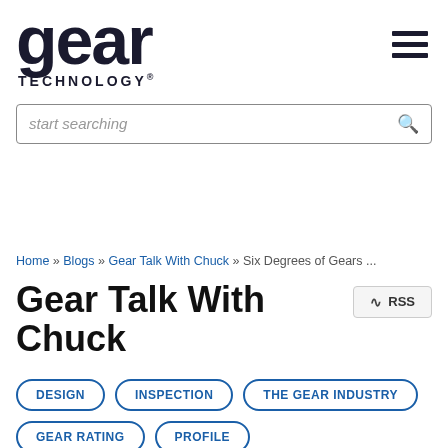gear TECHNOLOGY
start searching
Home » Blogs » Gear Talk With Chuck » Six Degrees of Gears ...
Gear Talk With Chuck
RSS
DESIGN
INSPECTION
THE GEAR INDUSTRY
GEAR RATING
PROFILE
PROFILE MODIFICATION